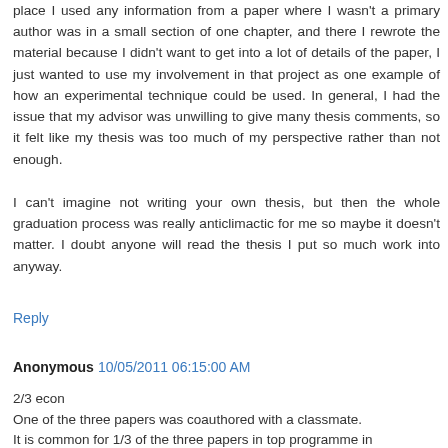place I used any information from a paper where I wasn't a primary author was in a small section of one chapter, and there I rewrote the material because I didn't want to get into a lot of details of the paper, I just wanted to use my involvement in that project as one example of how an experimental technique could be used. In general, I had the issue that my advisor was unwilling to give many thesis comments, so it felt like my thesis was too much of my perspective rather than not enough.
I can't imagine not writing your own thesis, but then the whole graduation process was really anticlimactic for me so maybe it doesn't matter. I doubt anyone will read the thesis I put so much work into anyway.
Reply
Anonymous 10/05/2011 06:15:00 AM
2/3 econ
One of the three papers was coauthored with a classmate.
It is common for 1/3 of the three papers in top programme in